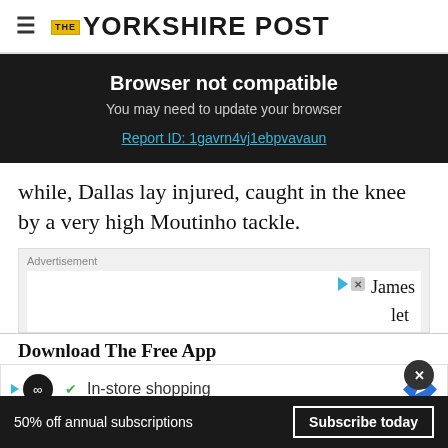THE YORKSHIRE POST
Browser not compatible
You may need to update your browser
Report ID: 1gavrn4vj1ebpvavaun
while, Dallas lay injured, caught in the knee by a very high Moutinho tackle.
Advertisement
James
let
Download The Free App
In-store shopping
50% off annual subscriptions  Subscribe today